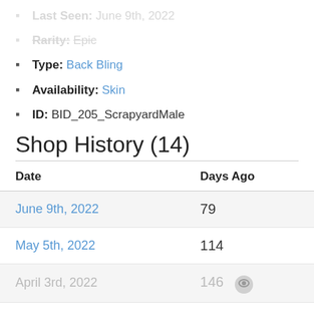Last Seen: June 9th, 2022
Rarity: Epic
Type: Back Bling
Availability: Skin
ID: BID_205_ScrapyardMale
Shop History (14)
| Date | Days Ago |
| --- | --- |
| June 9th, 2022 | 79 |
| May 5th, 2022 | 114 |
| April 3rd, 2022 | 146 |
| March 7th, 2022 | 173 |